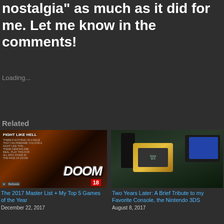nostalgia" as much as it did for me. Let me know in the comments!
Loading...
Related
[Figure (photo): DOOM video game box art showing armored figure with Fight Like Hell text and 18 rating]
The 2017 Master List + My Top 5 Games of the Year
December 22, 2017
[Figure (photo): Nintendo handhelds including gold Nintendo 3DS and black 3DS displayed on a surface]
Two Years Later: A Brief Tribute to my Favorite Console, the Nintendo 3DS
August 8, 2017